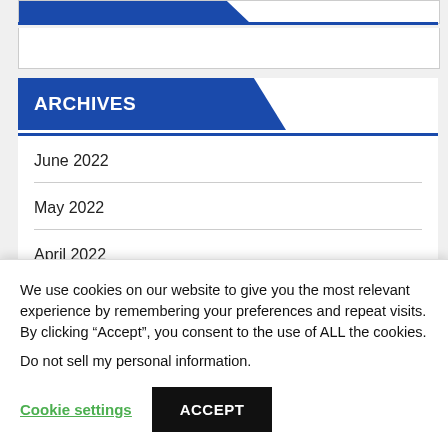ARCHIVES
June 2022
May 2022
April 2022
We use cookies on our website to give you the most relevant experience by remembering your preferences and repeat visits. By clicking “Accept”, you consent to the use of ALL the cookies.
Do not sell my personal information.
Cookie settings
ACCEPT